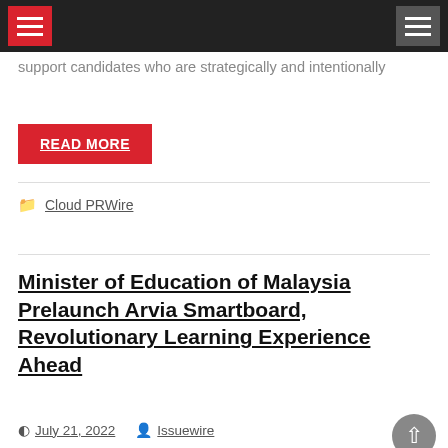Navigation bar with hamburger menus
support candidates who are strategically and intentionally
READ MORE
Cloud PRWire
Minister of Education of Malaysia Prelaunch Arvia Smartboard, Revolutionary Learning Experience Ahead
July 21, 2022  Issuewire
YB Datuk Dr. Mohd Radzi bin Md Jidin officially pre-launched Arvia Smartboard AviaOS at DUTA 2021